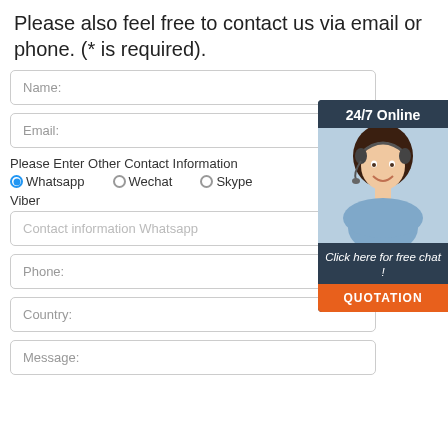Please also feel free to contact us via email or phone. (* is required).
Name:
Email:
Please Enter Other Contact Information
Whatsapp  Wechat  Skype
Viber
Contact information Whatsapp
Phone:
Country:
Message:
[Figure (illustration): Customer service widget showing a woman with headset, '24/7 Online' header, 'Click here for free chat!' text, and QUOTATION button]